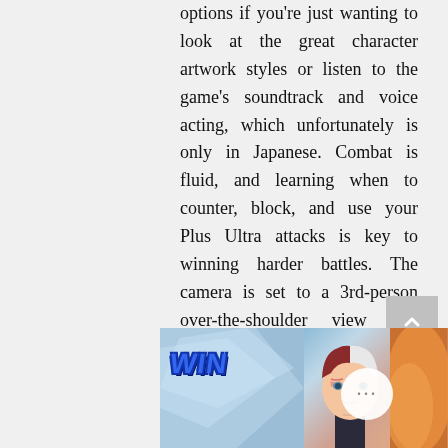options if you're just wanting to look at the great character artwork styles or listen to the game's soundtrack and voice acting, which unfortunately is only in Japanese. Combat is fluid, and learning when to counter, block, and use your Plus Ultra attacks is key to winning harder battles. The camera is set to a 3rd-person over-the-shoulder view that follows your opponent as best as possible. During major attacks and quick dashes, you can and will lose track of your opponent while the camera adapts.
[Figure (screenshot): Game screenshot showing a WIN screen with character artwork including a character with half red/white hair on the right, and a light blue ice effect on the left, with an orange flame effect on the far right. A circular more options button (three dots) is visible.]